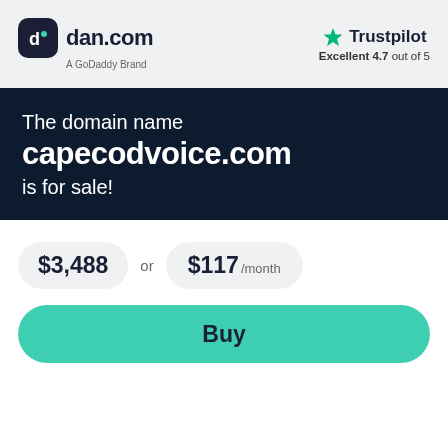[Figure (logo): dan.com logo with icon and 'A GoDaddy Brand' subtitle]
[Figure (logo): Trustpilot logo with green star and 'Excellent 4.7 out of 5' rating]
The domain name capecodvoice.com is for sale!
$3,488 or $117 /month
Buy